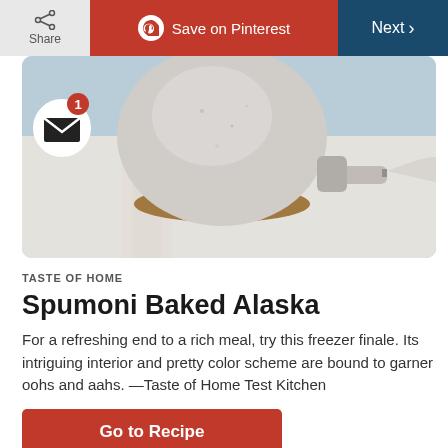Share | Save on Pinterest | Next >
[Figure (photo): A bowl on a folded cloth napkin with a knife beside it, on a light blue surface — food styling photo for Spumoni Baked Alaska recipe]
TASTE OF HOME
Spumoni Baked Alaska
For a refreshing end to a rich meal, try this freezer finale. Its intriguing interior and pretty color scheme are bound to garner oohs and aahs. —Taste of Home Test Kitchen
Go to Recipe